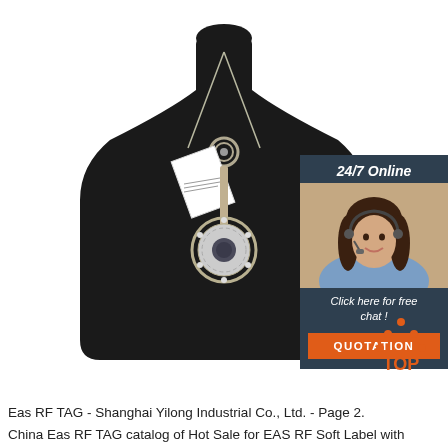[Figure (photo): Product photo: a silver necklace with a decorative knot and round pendant with dark center stone, displayed on a black velvet jewelry bust/mannequin stand. A price tag with barcode is attached to the necklace.]
[Figure (photo): Customer service banner showing a smiling woman with headset, with '24/7 Online' header text in dark teal/navy background, 'Click here for free chat!' text below, and an orange 'QUOTATION' button.]
[Figure (infographic): Orange 'TOP' button with orange triangle/arrow icon above the text, indicating a scroll-to-top button.]
Eas RF TAG - Shanghai Yilong Industrial Co., Ltd. - Page 2.
China Eas RF TAG catalog of Hot Sale for EAS RF Soft Label with